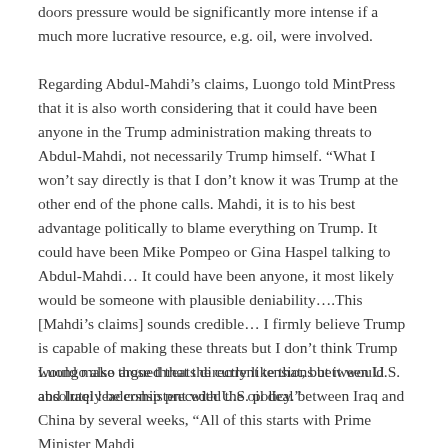doors pressure would be significantly more intense if a much more lucrative resource, e.g. oil, were involved.
Regarding Abdul-Mahdi’s claims, Luongo told MintPress that it is also worth considering that it could have been anyone in the Trump administration making threats to Abdul-Mahdi, not necessarily Trump himself. “What I won’t say directly is that I don’t know it was Trump at the other end of the phone calls. Mahdi, it is to his best advantage politically to blame everything on Trump. It could have been Mike Pompeo or Gina Haspel talking to Abdul-Mahdi… It could have been anyone, it most likely would be someone with plausible deniability….This [Mahdi’s claims] sounds credible… I firmly believe Trump is capable of making these threats but I don’t think Trump would make those threats directly like that, but it would absolutely be consistent with U.S. policy.”
Luongo also argued that the current tensions between U.S. and Iraqi leadership preceded the oil deal between Iraq and China by several weeks, “All of this starts with Prime Minister Mahdi